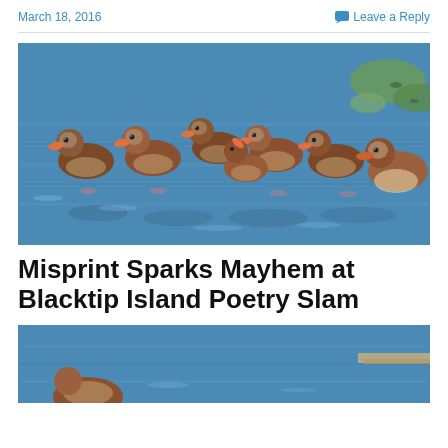March 18, 2016
Leave a Reply
[Figure (photo): A group of black-bellied whistling ducks swimming in blue water with lily pads in the background]
Misprint Sparks Mayhem at Blacktip Island Poetry Slam
[Figure (photo): Partial view of another duck photo on blue water with a dock or platform visible]